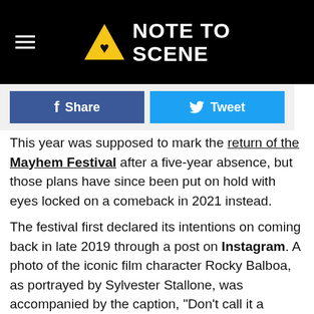NOTE TO SCENE
Share
Tweet
This year was supposed to mark the return of the Mayhem Festival after a five-year absence, but those plans have since been put on hold with eyes locked on a comeback in 2021 instead.
The festival first declared its intentions on coming back in late 2019 through a post on Instagram. A photo of the iconic film character Rocky Balboa, as portrayed by Sylvester Stallone, was accompanied by the caption, "Don't call it a comeback," alongside a the #mayhem2020 hashtag. Nearly one month later on Christmas Day, a message was shared